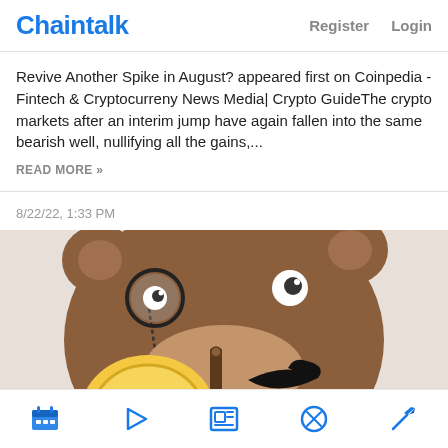Chaintalk   Register   Login
Revive Another Spike in August? appeared first on Coinpedia - Fintech & Cryptocurreny News Media| Crypto GuideThe crypto markets after an interim jump have again fallen into the same bearish well, nullifying all the gains,...
READ MORE »
8/22/22, 1:33 PM
[Figure (illustration): Cartoon illustration of a brown bear character with a monocle, large black mustache, and holding a gold coin — mascot for a crypto/finance application]